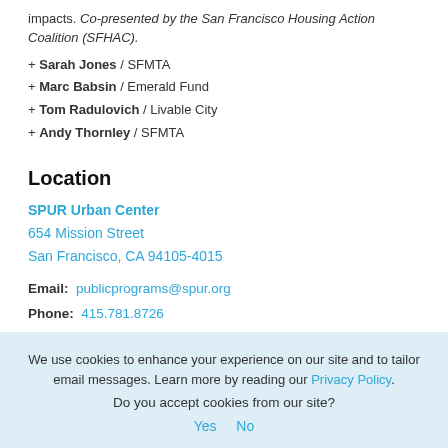impacts. Co-presented by the San Francisco Housing Action Coalition (SFHAC).
+ Sarah Jones / SFMTA
+ Marc Babsin / Emerald Fund
+ Tom Radulovich / Livable City
+ Andy Thornley / SFMTA
Location
SPUR Urban Center
654 Mission Street
San Francisco, CA 94105-4015
Email: publicprograms@spur.org
Phone: 415.781.8726
We use cookies to enhance your experience on our site and to tailor email messages. Learn more by reading our Privacy Policy.
Do you accept cookies from our site?
Yes   No